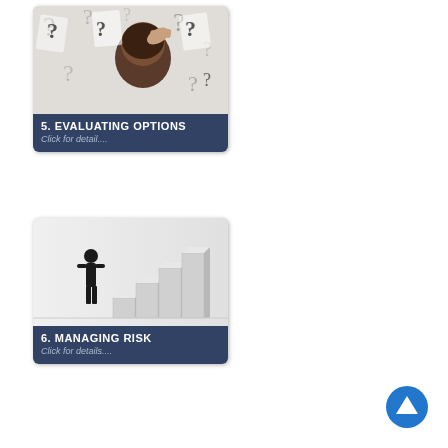[Figure (illustration): Card with photo of person scratching head surrounded by question marks. Bottom overlay shows title '5. EVALUATING OPTIONS' and 'Click for detail...']
[Figure (illustration): Card with photo of silhouetted person standing in front of large 3D rising blocks/stairs. Bottom overlay shows title '6. MANAGING RISK' and 'Click for details...']
[Figure (illustration): Blue circle up-arrow navigation button in bottom right corner]